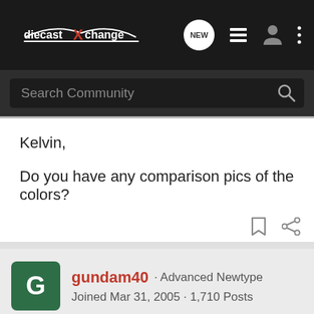diecastXchange [NEW] navigation icons
Search Community
Kelvin,

Do you have any comparison pics of the colors?
gundam40 · Advanced Newtype
Joined Mar 31, 2005 · 1,710 Posts
#9 · May 12, 2005